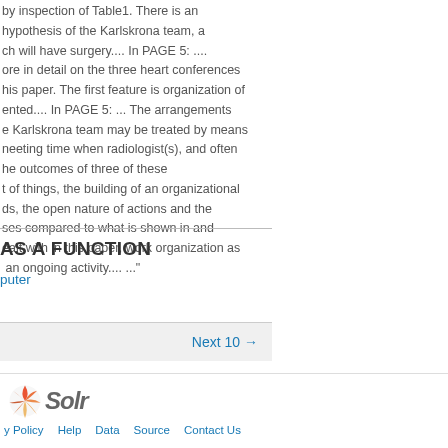by inspection of Table1. There is an hypothesis of the Karlskrona team, a ch will have surgery.... In PAGE 5: .... ore in detail on the three heart conferences his paper. The first feature is organization of ented.... In PAGE 5: ... The arrangements e Karlskrona team may be treated by means neeting time when radiologist(s), and often he outcomes of three of these t of things, the building of an organizational ds, the open nature of actions and the ses compared to what is shown in and ealt with in this paper, work organization as an ongoing activity.... ..."
AS A FUNCTION
puter
Next 10 →
[Figure (logo): Apache Solr logo with orange sun/shell icon and stylized italic 'Solr' wordmark]
y Policy   Help   Data   Source   Contact Us